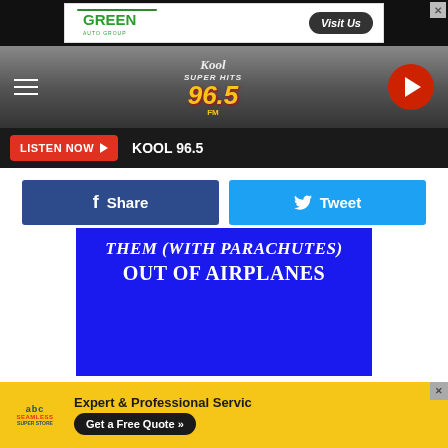[Figure (screenshot): Green Auto Group advertisement banner with 'Visit Us' button and close X]
[Figure (logo): Kool Super Hits 96.5 FM radio station logo with hamburger menu and play button]
LISTEN NOW ▶  KOOL 96.5
[Figure (other): Facebook Share button and Twitter Tweet button social sharing row]
[Figure (illustration): Blue card image with text: THEM (WITH PARACHUTES) OUT OF AIRPLANES]
Animals $800
[Figure (screenshot): Second blue content card strip partially visible]
[Figure (screenshot): ABC Seamless Super Store advertisement: Expert & Professional Service - Get a Free Quote]